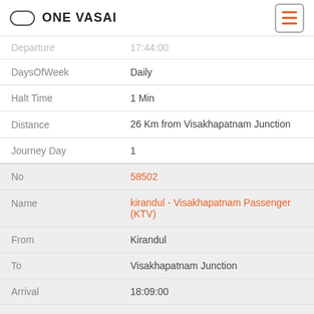ONE VASAI
| Field | Value |
| --- | --- |
| Departure | 17:44:00 |
| DaysOfWeek | Daily |
| Halt Time | 1 Min |
| Distance | 26 Km from Visakhapatnam Junction |
| Journey Day | 1 |
| No | 58502 |
| Name | kirandul - Visakhapatnam Passenger (KTV) |
| From | Kirandul |
| To | Visakhapatnam Junction |
| Arrival | 18:09:00 |
| Departure | 18:10:00 |